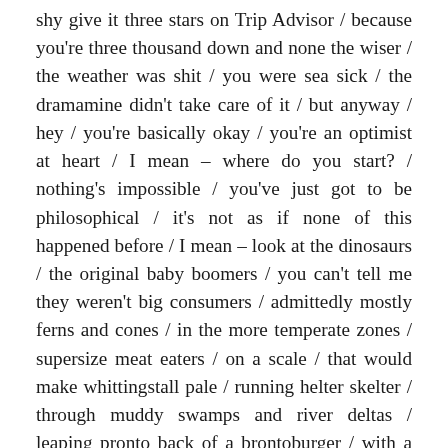shy give it three stars on Trip Advisor / because you're three thousand down and none the wiser / the weather was shit / you were sea sick / the dramamine didn't take care of it / but anyway / hey / you're basically okay / you're an optimist at heart / I mean – where do you start? / nothing's impossible / you've just got to be philosophical / it's not as if none of this happened before / I mean – look at the dinosaurs / the original baby boomers / you can't tell me they weren't big consumers / admittedly mostly ferns and cones / in the more temperate zones / supersize meat eaters / on a scale / that would make whittingstall pale / running helter skelter / through muddy swamps and river deltas / leaping pronto back of a brontoburger / with a side order of allosaur / volcanoes and asteroids permitting / I mean – c'mon – they never thought of quitting / moaning about how hot it was getting / no –